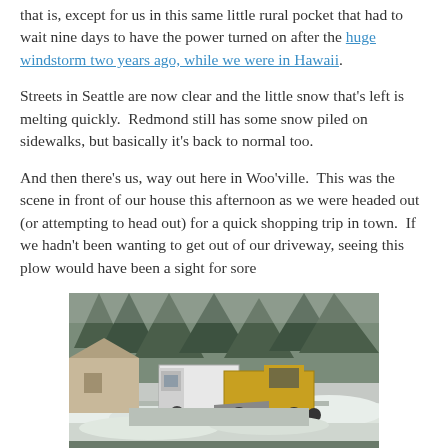that is, except for us in this same little rural pocket that had to wait nine days to have the power turned on after the huge windstorm two years ago, while we were in Hawaii.
Streets in Seattle are now clear and the little snow that's left is melting quickly. Redmond still has some snow piled on sidewalks, but basically it's back to normal too.
And then there's us, way out here in Woo'ville. This was the scene in front of our house this afternoon as we were headed out (or attempting to head out) for a quick shopping trip in town. If we hadn't been wanting to get out of our driveway, seeing this plow would have been a sight for sore
[Figure (photo): A photograph showing a snowy street scene in front of a house. A yellow road grader/plow and a white truck are visible on the snow-covered road, with snow piled up on the sides. Snow-laden evergreen trees are in the background, and part of a car's roof is visible in the foreground.]